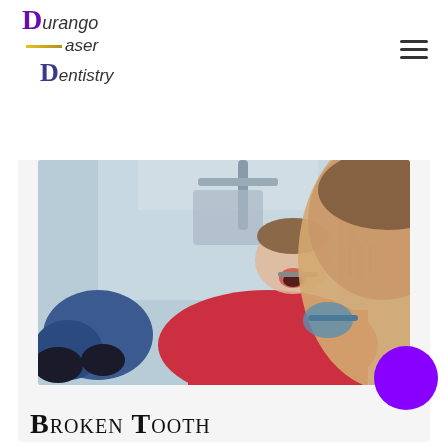[Figure (logo): Durango Laser Dentistry logo with stylized purple D and script text]
Details ▶
[Figure (photo): Child patient reclined in dental chair with mouth open, dentist examining with instrument, dental equipment visible overhead]
Broken Tooth